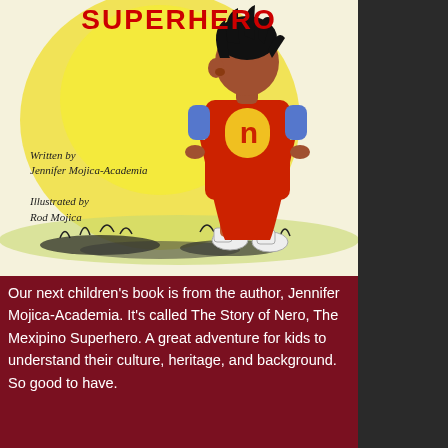SUPERHERO
[Figure (illustration): Children's book cover illustration showing a child in a red superhero costume with a yellow 'n' on the chest, viewed from behind, standing on grass with a yellow glowing sky background. Text reads: Written by Jennifer Mojica-Academia, Illustrated by Rod Mojica.]
Our next children's book is from the author, Jennifer Mojica-Academia. It's called The Story of Nero, The Mexipino Superhero. A great adventure for kids to understand their culture, heritage, and background. So good to have.